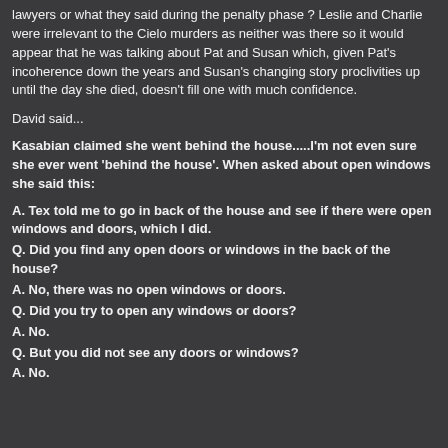lawyers or what they said during the penalty phase ? Leslie and Charlie were irrelevant to the Cielo murders as neither was there so it would appear that he was talking about Pat and Susan which, given Pat's incoherence down the years and Susan's changing story proclivities up until the day she died, doesn't fill one with much confidence.
David said...
Kasabian claimed she went behind the house.....I'm not even sure she ever went 'behind the house'. When asked about open windows she said this:
A. Tex told me to go in back of the house and see if there were open windows and doors, which I did.
Q. Did you find any open doors or windows in the back of the house?
A. No, there was no open windows or doors.
Q. Did you try to open any windows or doors?
A. No.
Q. But you did not see any doors or windows?
A. No.